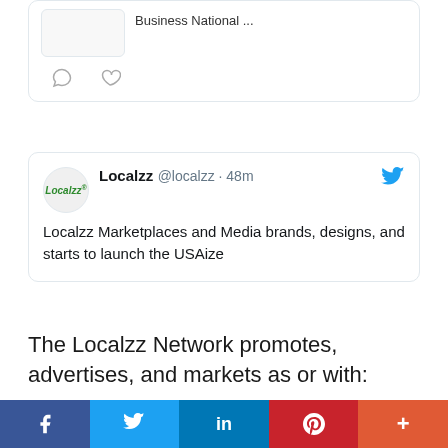[Figure (screenshot): Partial tweet card showing an image thumbnail and 'Business National ...' text, with comment and heart icons below]
[Figure (screenshot): Tweet from Localzz @localzz · 48m with Twitter bird icon. Text: 'Localzz Marketplaces and Media brands, designs, and starts to launch the USAize']
The Localzz Network promotes, advertises, and markets as or with:
10DollarListing.com
10DollarListings.com
25DollarListing.com
25DollarListings.com
91DayListing.com
91DayListings.com
[Figure (screenshot): Social share bar with Facebook (dark blue), Twitter (blue), LinkedIn (blue), Pinterest (red), More (orange-red) buttons]